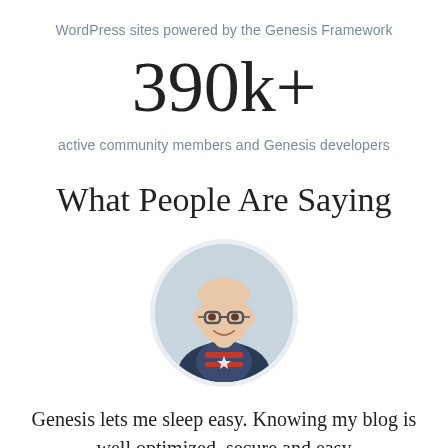WordPress sites powered by the Genesis Framework
390k+
active community members and Genesis developers
What People Are Saying
[Figure (photo): Circular avatar photo of a bald man with glasses wearing a Captain America t-shirt under a navy blazer, smiling, on a light gray background]
Genesis lets me sleep easy. Knowing my blog is well optimized, secure and easy